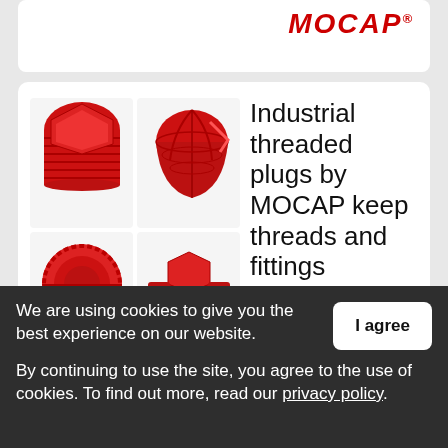[Figure (logo): MOCAP logo in red italic bold text with registered trademark symbol]
[Figure (photo): Grid of four red industrial threaded plastic plugs showing different angles and styles]
Industrial threaded plugs by MOCAP keep threads and fittings protected
September 30, 2019 by MOCAP, LLC
We are using cookies to give you the best experience on our website.
By continuing to use the site, you agree to the use of cookies. To find out more, read our privacy policy.